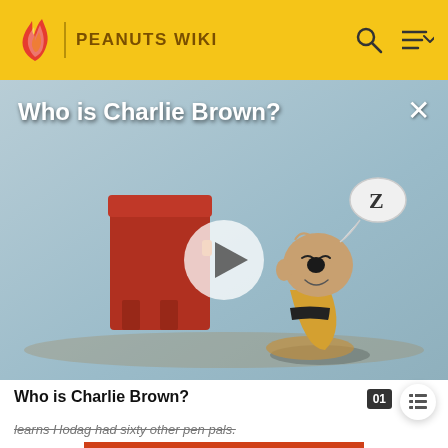PEANUTS WIKI
[Figure (screenshot): Video thumbnail showing animated Charlie Brown character sleeping/sitting next to a red mailbox on a blue-gray background, with a 'Z' speech bubble, play button overlay, and title 'Who is Charlie Brown?']
Who is Charlie Brown?
learns Hodag had sixty other pen pals.
The Little Red-Haired Girl
[Figure (photo): Partial image at the bottom showing decorative red/orange floral pattern]